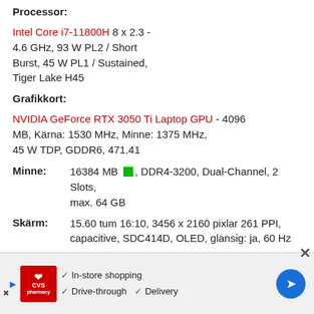Processor:
Intel Core i7-11800H 8 x 2.3 - 4.6 GHz, 93 W PL2 / Short Burst, 45 W PL1 / Sustained, Tiger Lake H45
Grafikkort:
NVIDIA GeForce RTX 3050 Ti Laptop GPU - 4096 MB, Kärna: 1530 MHz, Minne: 1375 MHz, 45 W TDP, GDDR6, 471.41
Minne: 16384 MB ■, DDR4-3200, Dual-Channel, 2 Slots, max. 64 GB
Skärm: 15.60 tum 16:10, 3456 x 2160 pixlar 261 PPI, capacitive, SDC414D, OLED, glansig: ja, 60 Hz
Moderkort: Intel WM590 (Tiger Lake PCH-H)
Hårddisk: Micron 2300 512GB MTFDHBA512TDV, 512 GB
[Figure (screenshot): CVS Pharmacy advertisement banner with in-store shopping, drive-through, and delivery options]